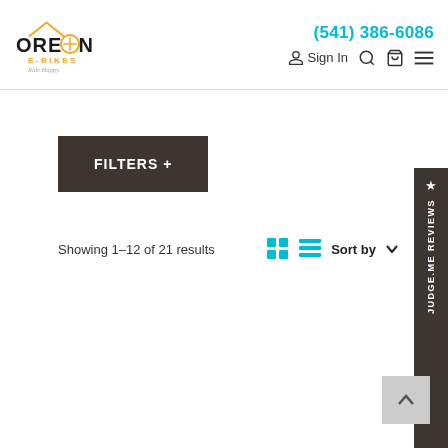Oregon E-Bikes | Ride Happy | (541) 386-6086 | Sign In
FILTERS +
Showing 1–12 of 21 results  Sort by
★ JUDGE.ME REVIEWS